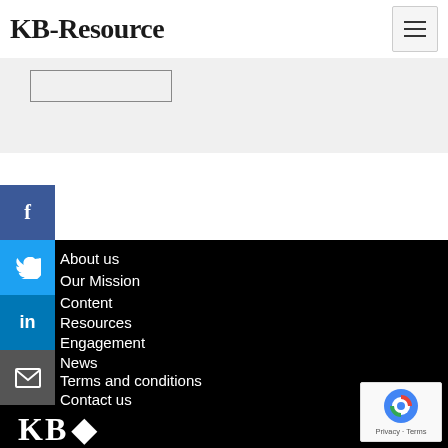KB-Resource
[Figure (screenshot): Gray sub-bar with a rectangular button/input outline]
About us
Our Mission
Content
Resources
Engagement
News
Terms and conditions
Contact us
[Figure (logo): KB-Resource logo text in white at bottom]
[Figure (screenshot): reCAPTCHA badge with Google reCAPTCHA logo and Privacy · Terms text]